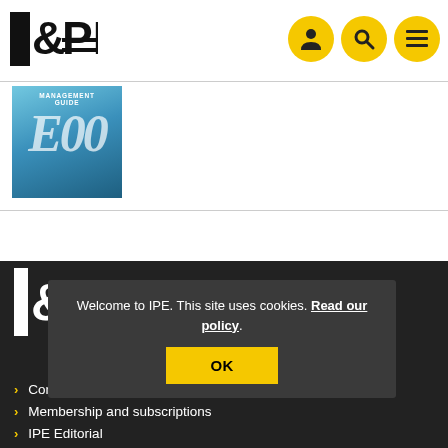IPE
[Figure (screenshot): IPE magazine thumbnail with blue background showing management guide cover]
[Figure (logo): IPE logo in white on dark footer background]
Welcome to IPE. This site uses cookies. Read our policy.
OK
Contact us
Membership and subscriptions
IPE Editorial